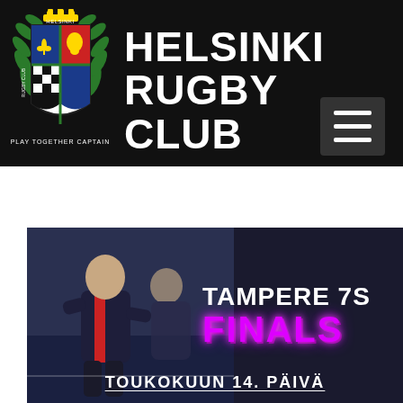[Figure (logo): Helsinki Rugby Club logo: heraldic crest with green laurel wreath, quartered shield with fleur-de-lis, lion, kangaroo, and black/white pattern, crown on top, text 'HELSINKI RUGBY CLUB' encircling, yellow/red/blue/green colors]
HELSINKI RUGBY CLUB
[Figure (photo): Rugby players in dark navy/red jerseys running on an indoor court during a match. Event promotional image for Tampere 7s Finals.]
TAMPERE 7S
FINALS
TOUKOKUUN 14. PÄIVÄ